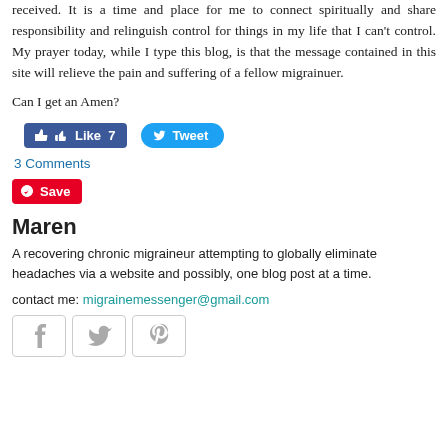received. It is a time and place for me to connect spiritually and share responsibility and relinguish control for things in my life that I can't control. My prayer today, while I type this blog, is that the message contained in this site will relieve the pain and suffering of a fellow migrainuer.
Can I get an Amen?
[Figure (screenshot): Facebook Like button with count 7 and Twitter Tweet button]
3 Comments
[Figure (screenshot): Pinterest Save button (red)]
Maren
A recovering chronic migraineur attempting to globally eliminate headaches via a website and possibly, one blog post at a time.
contact me: migrainemessenger@gmail.com
[Figure (screenshot): Social media icons: Facebook, Twitter, Pinterest]